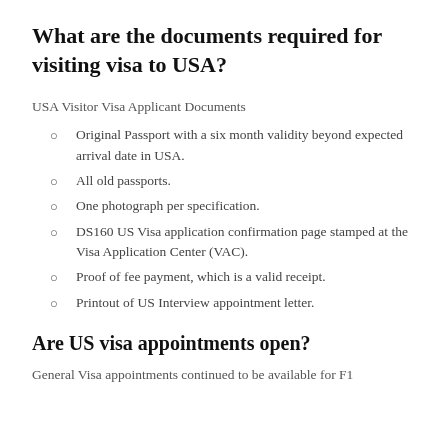What are the documents required for visiting visa to USA?
USA Visitor Visa Applicant Documents
Original Passport with a six month validity beyond expected arrival date in USA.
All old passports.
One photograph per specification.
DS160 US Visa application confirmation page stamped at the Visa Application Center (VAC).
Proof of fee payment, which is a valid receipt.
Printout of US Interview appointment letter.
Are US visa appointments open?
General Visa appointments continued to be available for F1